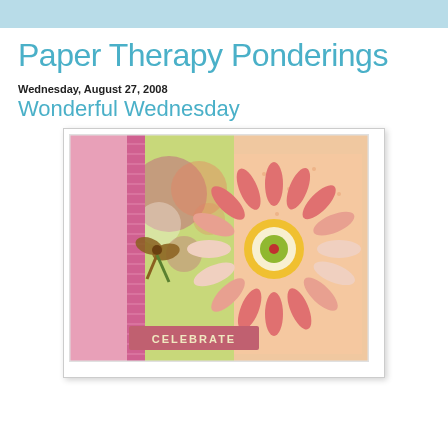Paper Therapy Ponderings
Wednesday, August 27, 2008
Wonderful Wednesday
[Figure (photo): Handmade greeting card with pink lace, floral patterned paper in green and peach, a large layered paper daisy flower in pink/white/orange with a yellow center, and a 'CELEBRATE' label at the bottom.]